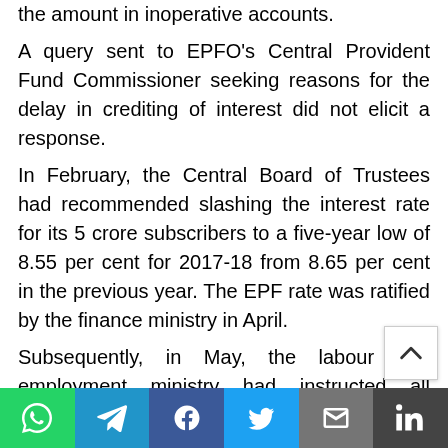the amount in inoperative accounts.
A query sent to EPFO's Central Provident Fund Commissioner seeking reasons for the delay in crediting of interest did not elicit a response.
In February, the Central Board of Trustees had recommended slashing the interest rate for its 5 crore subscribers to a five-year low of 8.55 per cent for 2017-18 from 8.65 per cent in the previous year. The EPF rate was ratified by the finance ministry in April.
Subsequently, in May, the labour and employment ministry had instructed all regional PF commissioners to facilitate the crediting